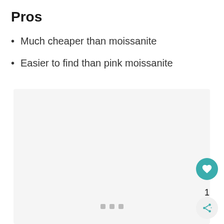Pros
Much cheaper than moissanite
Easier to find than pink moissanite
[Figure (other): Light gray placeholder image area with three small gray dots at the bottom center, and UI buttons (heart/like, count '1', share) on the bottom right]